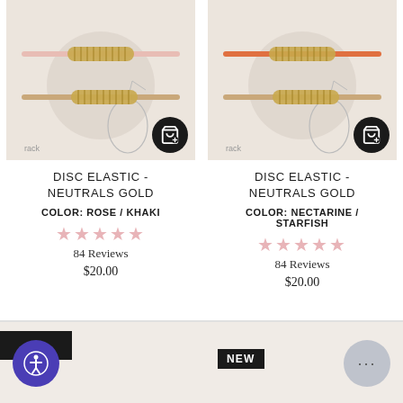[Figure (photo): Product photo of Disc Elastic Neutrals Gold bracelets in Rose/Khaki colorway, two bracelets shown on packaging card, with add-to-cart button]
DISC ELASTIC - NEUTRALS GOLD
COLOR: ROSE / KHAKI
★★★★★
84 Reviews
$20.00
[Figure (photo): Product photo of Disc Elastic Neutrals Gold bracelets in Nectarine/Starfish colorway, two bracelets shown on packaging card, with add-to-cart button]
DISC ELASTIC - NEUTRALS GOLD
COLOR: NECTARINE / STARFISH
★★★★★
84 Reviews
$20.00
[Figure (photo): Partially visible product image at bottom left]
NEW
[Figure (photo): Partially visible product image at bottom right with NEW badge]